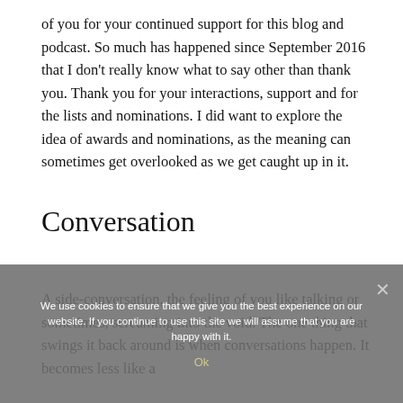of you for your continued support for this blog and podcast. So much has happened since September 2016 that I don't really know what to say other than thank you. Thank you for your interactions, support and for the lists and nominations. I did want to explore the idea of awards and nominations, as the meaning can sometimes get overlooked as we get caught up in it.
Conversation
A side-conversation, the feeling of you like talking or sometimes, screaming into the void. The one thing that swings it back around is when conversations happen. It becomes less like a
We use cookies to ensure that we give you the best experience on our website. If you continue to use this site we will assume that you are happy with it.